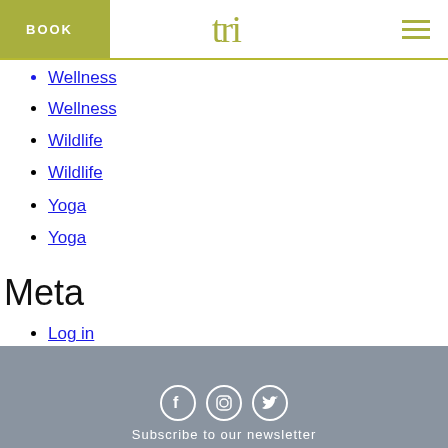BOOK | tri logo | navigation menu
Wellness (partial, cut off at top)
Wellness
Wildlife
Wildlife
Yoga
Yoga
Meta
Log in
Entries RSS
Comments RSS
WordPress.org
Subscribe to our newsletter